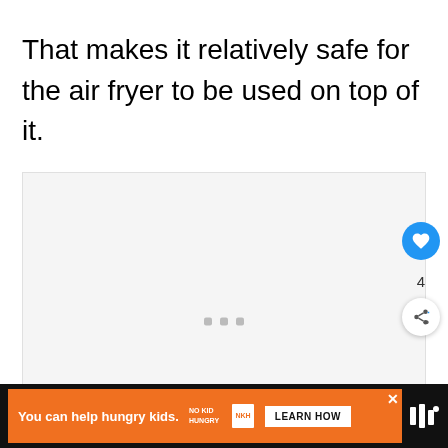That makes it relatively safe for the air fryer to be used on top of it.
[Figure (other): Loading placeholder with three grey dots centered in a light grey box, with a blue heart/like FAB button showing count 4 and a share FAB button on the right side]
[Figure (other): Advertisement banner: orange bar with text 'You can help hungry kids.' alongside No Kid Hungry logo and a 'LEARN HOW' button, on a dark background with a website logo on the right]